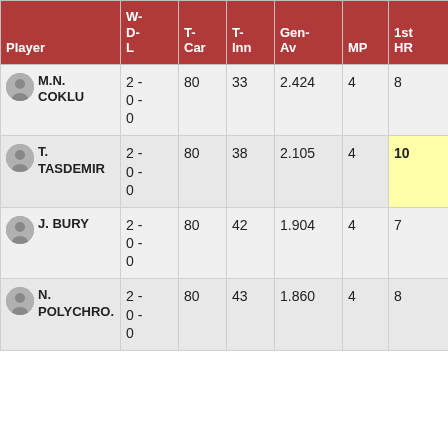| Player | W-D-L | T-Car | T-Inn | Gen-Av | MP | 1st HR |
| --- | --- | --- | --- | --- | --- | --- |
| M.N. COKLU | 2 - 0 - 0 | 80 | 33 | 2.424 | 4 | 8 |
| T. TASDEMIR | 2 - 0 - 0 | 80 | 38 | 2.105 | 4 | 10 |
| J. BURY | 2 - 0 - 0 | 80 | 42 | 1.904 | 4 | 7 |
| N. POLYCHRO. | 2 - 0 - 0 | 80 | 43 | 1.860 | 4 | 8 |